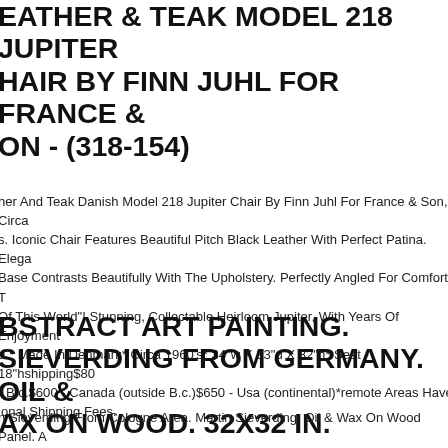EATHER & TEAK MODEL 218 JUPITER CHAIR BY FINN JUHL FOR FRANCE & SON - (318-154)
her And Teak Danish Model 218 Jupiter Chair By Finn Juhl For France & Son, Circa s. Iconic Chair Features Beautiful Pitch Black Leather With Perfect Patina. Elega Base Contrasts Beautifully With The Upholstery. Perfectly Angled For Comfort T Of This World"! Stunning, Collectable Heirloom Jupiter, With Years Of Enjoyment d.* Made In Denmark* Circa 1960's* 34"w X 33"d X 32"h* Seat - 18"hshipping$80 - B.c.$600 - Canada (outside B.c.)$650 - Usa (continental)*remote Areas Have ional Shipping Fees.
ABSTRACT ART PAINTING. SIEVERDING FROM GERMANY. OIL & WAX ON WOOD. 32X32 IN.
n Sieverding From Cologne Area. Martin Sieverding. Oil & Wax On Wood Panel. A ing "untitled (2020)".
ISH MAGNIFICENT MAHOGANY